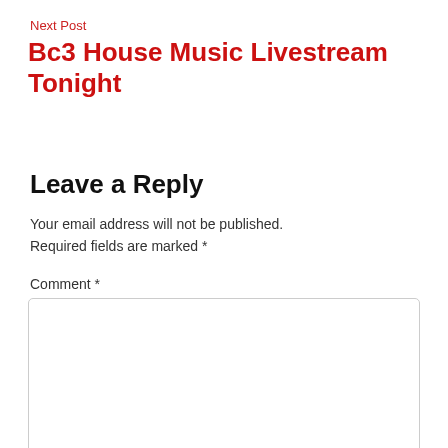Next Post
Bc3 House Music Livestream Tonight
Leave a Reply
Your email address will not be published. Required fields are marked *
Comment *